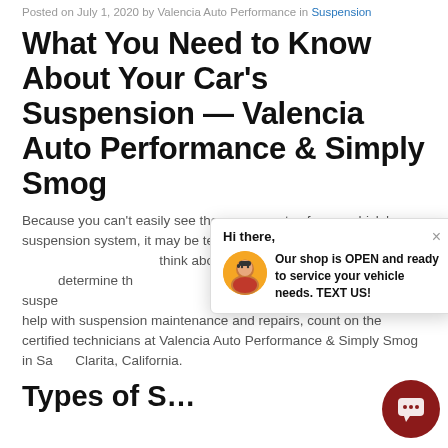Posted on July 1, 2020 by Valencia Auto Performance in Suspension
What You Need to Know About Your Car's Suspension — Valencia Auto Performance & Simply Smog
Because you can't easily see the components of your vehicle's suspension system, it may be tempting to ignore it as long as it isn't causing problems. But think about the fact that the suspension helps determine the direction of your vehicle in addition to the suspension's impact on your ride quality is a good approach. For help with suspension maintenance and repairs, count on the certified technicians at Valencia Auto Performance & Simply Smog in Santa Clarita, California.
Types of S…